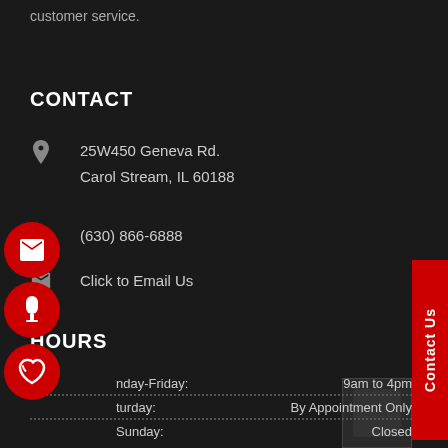customer service.
CONTACT
25W450 Geneva Rd. Carol Stream, IL 60188
(630) 866-6888
Click to Email Us
HOURS
Monday-Friday: 9am to 4pm
Saturday: By Appointment Only
Sunday: Closed